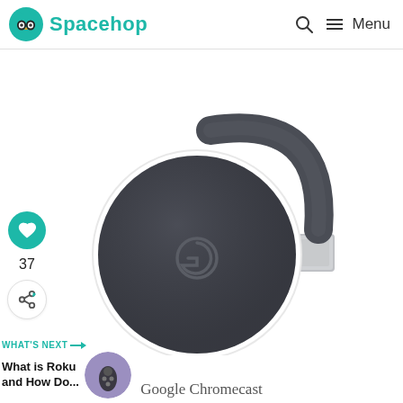Spacehop — Menu
[Figure (photo): Google Chromecast device — dark charcoal circular disc with Google G logo, curved HDMI connector arm, photographed from above on white background]
37
WHAT'S NEXT → What is Roku and How Do...
Google Chromecast